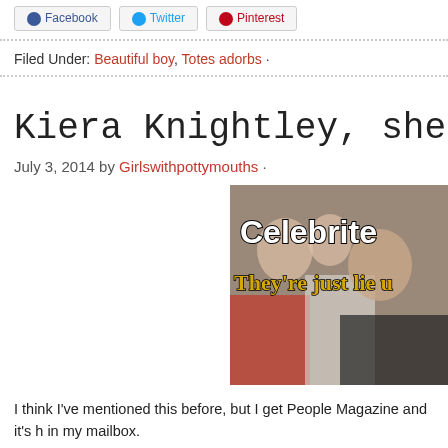Facebook · Twitter · Pinterest
Filed Under: Beautiful boy, Totes adorbs ·
Kiera Knightley, she's just like me… an
July 3, 2014 by Girlswithpottymouths ·
[Figure (photo): Magazine-style image with overlay text reading 'Celebrities They're just like u' showing celebrities at an event]
I think I've mentioned this before, but I get People Magazine and it's h in my mailbox.